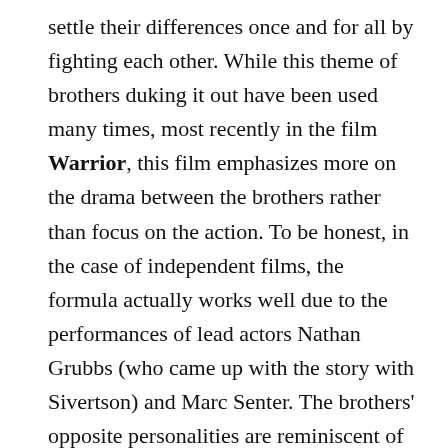settle their differences once and for all by fighting each other. While this theme of brothers duking it out have been used many times, most recently in the film Warrior, this film emphasizes more on the drama between the brothers rather than focus on the action. To be honest, in the case of independent films, the formula actually works well due to the performances of lead actors Nathan Grubbs (who came up with the story with Sivertson) and Marc Senter. The brothers' opposite personalities are reminiscent of Joel Edgerton's level-headed physics teacher and Tom Hardy's hot-headed Marine in WARRIOR. However, the big difference involves the first half of the film where Charlie proves to be a good brother by sacrificing